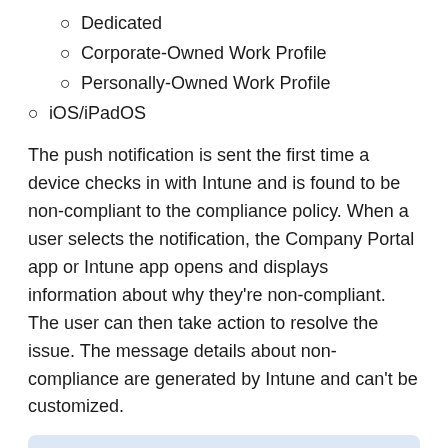Dedicated
Corporate-Owned Work Profile
Personally-Owned Work Profile
iOS/iPadOS
The push notification is sent the first time a device checks in with Intune and is found to be non-compliant to the compliance policy. When a user selects the notification, the Company Portal app or Intune app opens and displays information about why they're non-compliant. The user can then take action to resolve the issue. The message details about non-compliance are generated by Intune and can't be customized.
Important
Intune, the Company Portal app, and the